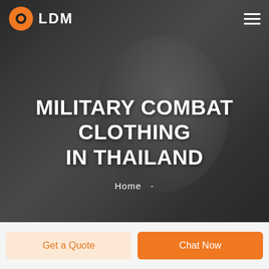[Figure (photo): Grayscale hero background photo of a smiling man in a light-colored shirt, indoors with window/office background, with dark overlay]
LDM
MILITARY COMBAT CLOTHING IN THAILAND
Home  -
Get a Quote
Chat Now